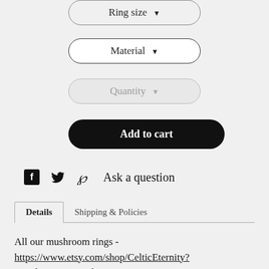[Figure (screenshot): Dropdown button labeled 'Ring size' with down arrow]
[Figure (screenshot): Dropdown button labeled 'Material' with down arrow]
[Figure (screenshot): Dropdown button labeled 'Quantity' with down arrow, grayed out]
[Figure (screenshot): Black rounded button labeled 'Add to cart' in white bold text]
[Figure (screenshot): Social sharing row with Facebook icon, Twitter bird icon, Pinterest P icon, and 'Ask a question' text link]
[Figure (screenshot): Tab navigation with 'Details' (active) and 'Shipping & Policies' tabs]
All our mushroom rings - https://www.etsy.com/shop/CelticEternity?search_query=mushroom